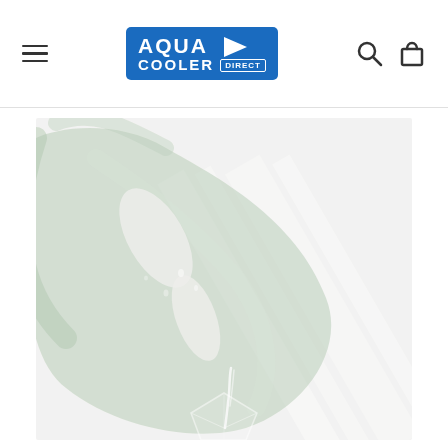Aqua Cooler Direct — navigation header with logo, hamburger menu, search and cart icons
[Figure (photo): Close-up photo of a monstera leaf with water droplets and a clear geometric glass vase below, soft natural light with diagonal shadows on a white background]